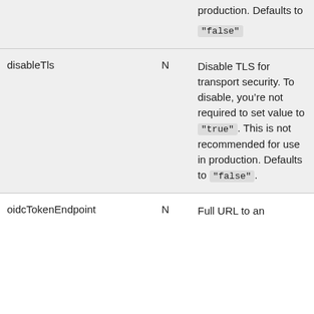|  |  | production. Defaults to "false" |
| disableTls | N | Disable TLS for transport security. To disable, you’re not required to set value to "true". This is not recommended for use in production. Defaults to "false". |
| oidcTokenEndpoint | N | Full URL to an |